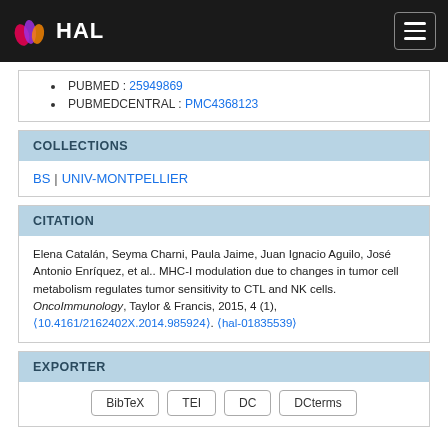HAL
PUBMED : 25949869
PUBMEDCENTRAL : PMC4368123
COLLECTIONS
BS | UNIV-MONTPELLIER
CITATION
Elena Catalán, Seyma Charni, Paula Jaime, Juan Ignacio Aguilo, José Antonio Enríquez, et al.. MHC-I modulation due to changes in tumor cell metabolism regulates tumor sensitivity to CTL and NK cells. OncoImmunology, Taylor & Francis, 2015, 4 (1), (10.4161/2162402X.2014.985924). (hal-01835539)
EXPORTER
BibTeX
TEI
DC
DCterms